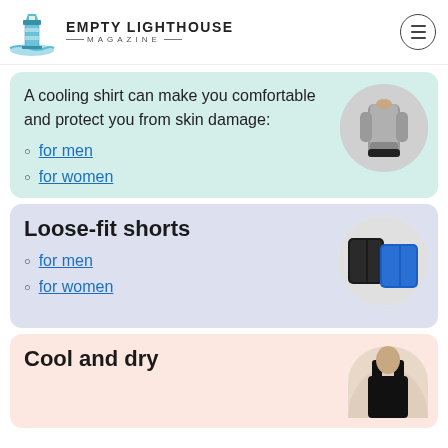EMPTY LIGHTHOUSE MAGAZINE
A cooling shirt can make you comfortable and protect you from skin damage:
for men
for women
[Figure (photo): Person wearing a gray cooling shirt]
Loose-fit shorts
for men
for women
[Figure (photo): Black and blue loose-fit shorts]
Cool and dry
[Figure (photo): Person wearing a black tank top]